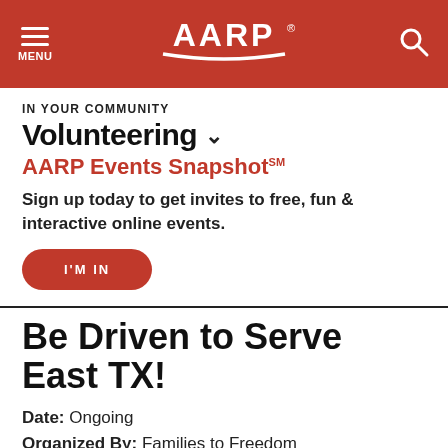MENU | AARP | Search
IN YOUR COMMUNITY
Volunteering
AARP Events Snapshot℠
Sign up today to get invites to free, fun & interactive online events.
I'M IN
Be Driven to Serve East TX!
Date: Ongoing
Organized By: Families to Freedom